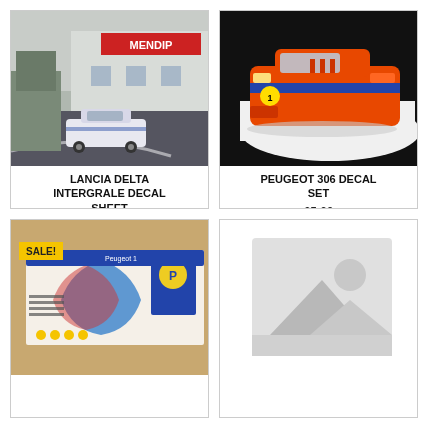[Figure (photo): White Lancia Delta Integrale RC car on tarmac track in front of a building with 'MENDIP' sign]
LANCIA DELTA INTERGRALE DECAL SHEET
£11.00
[Figure (photo): Orange Peugeot 306 body shell with blue stripe decal set on white background]
PEUGEOT 306 DECAL SET
£5.00
[Figure (photo): Peugeot decal sheet with colorful livery on brown paper background, with SALE! badge]
[Figure (photo): Placeholder image with mountain/landscape silhouette icon in grey tones]